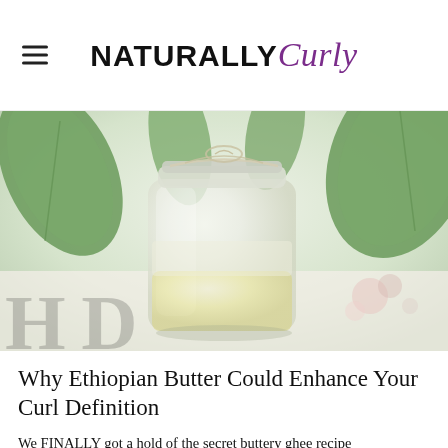NATURALLY Curly
[Figure (photo): A glass mason jar filled with a pale yellowish-white substance (Ethiopian butter/ghee), tied at the top with white twine and surrounded by green leaves on a light floral background. Partially visible cursive watermark text at the bottom of the image.]
Why Ethiopian Butter Could Enhance Your Curl Definition
We FINALLY got a hold of the secret buttery ghee recipe